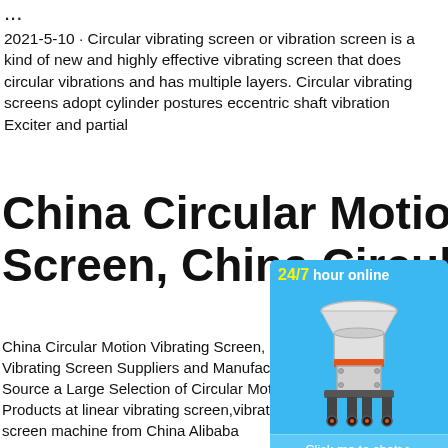...
2021-5-10 · Circular vibrating screen or vibration screen is a kind of new and highly effective vibrating screen that does circular vibrations and has multiple layers. Circular vibrating screens adopt cylinder postures eccentric shaft vibration Exciter and partial
China Circular Motion Vibrating Screen, China Circular
China Circular Motion Vibrating Screen, China Circular Vibrating Screen Suppliers and Manufacturers. Source a Large Selection of Circular Motion Products at linear vibrating screen,vibrating screen machine from China Alibaba
(en)-AURY (Tianjin) Inc Technology Co.,Ltd
Circular vibrating screen High frequency screens Centrifuges Exciters Home About Introduction Organization Technical strength Products P
[Figure (other): Advertisement widget with '24/7 hour online' header, image of industrial cone crusher machine, 'Click me to chat>>' button, 'Enquiry' section, and 'limingjlmofen' username label. Blue background.]